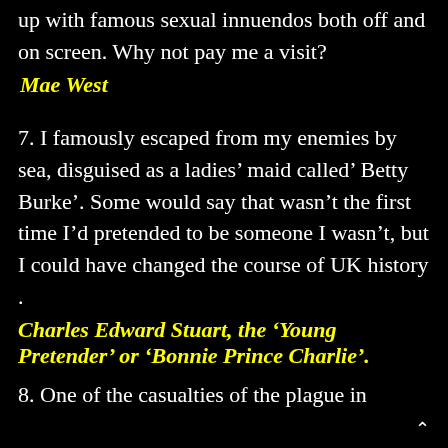up with famous sexual innuendos both off and on screen. Why not pay me a visit?
Mae West
7. I famously escaped from my enemies by sea, disguised as a ladies' maid called' Betty Burke'. Some would say that wasn't the first time I'd pretended to be someone I wasn't, but I could have changed the course of UK history .
Charles Edward Stuart, the 'Young Pretender' or 'Bonnie Prince Charlie'.
8. One of the casualties of the plague in